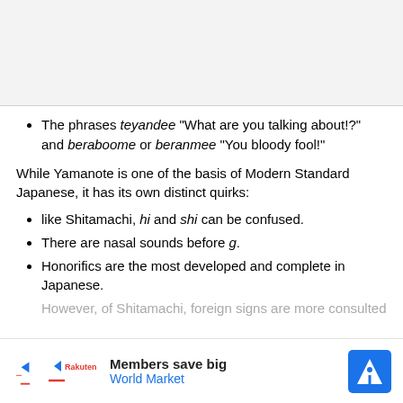The phrases teyandee "What are you talking about!?" and beraboome or beranmee "You bloody fool!"
While Yamanote is one of the basis of Modern Standard Japanese, it has its own distinct quirks:
like Shitamachi, hi and shi can be confused.
There are nasal sounds before g.
Honorifics are the most developed and complete in Japanese.
However, of Shitamachi, foreign signs are more consulted to...